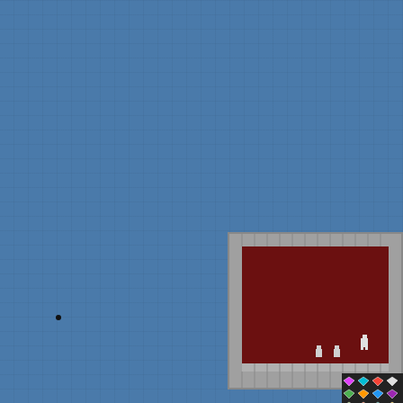•
[Figure (screenshot): Game screenshot showing a dark red room with stone tile floor and walls, a small character sprite visible, with two smaller characters or objects on the floor]
Tip and
Complete the tasks as fast as possible, and avoid th
[Figure (screenshot): Grid of colorful gem/diamond icons in various colors including pink, green, teal, white, and others arranged in rows and columns]